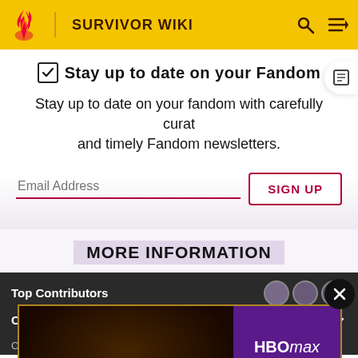SURVIVOR WIKI
Stay up to date on your Fandom
Stay up to date on your fandom with carefully curat and timely Fandom newsletters.
Email Address
SIGN UP
MORE INFORMATION
Top Contributors
Categories
Community content is available under CC-BY-SA unless
[Figure (screenshot): HBO Max advertisement banner for House of the Dragon with dark fantasy imagery on the left and HBO Max logo with Sign Up Now button on purple background on the right]